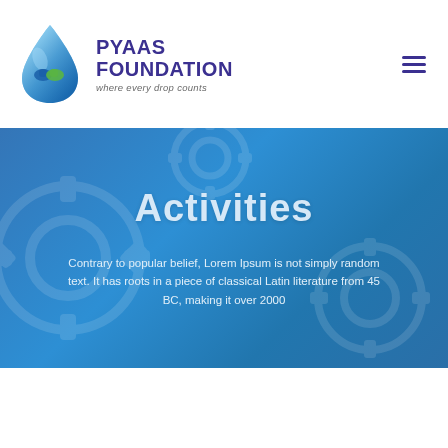[Figure (logo): Pyaas Foundation logo — blue water drop with stylized hands inside, beside bold purple text 'PYAAS FOUNDATION' and italic tagline 'where every drop counts']
Activities
Contrary to popular belief, Lorem Ipsum is not simply random text. It has roots in a piece of classical Latin literature from 45 BC, making it over 2000